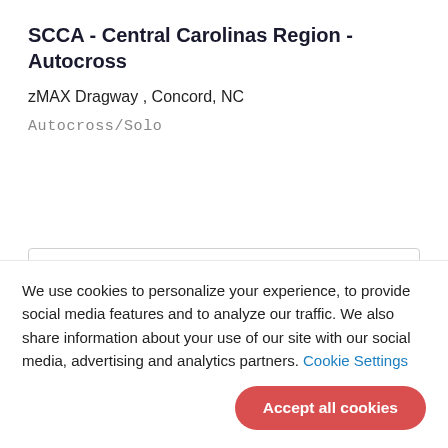SCCA - Central Carolinas Region - Autocross
zMAX Dragway , Concord, NC
Autocross/Solo
MORE
We use cookies to personalize your experience, to provide social media features and to analyze our traffic. We also share information about your use of our site with our social media, advertising and analytics partners. Cookie Settings
Accept all cookies